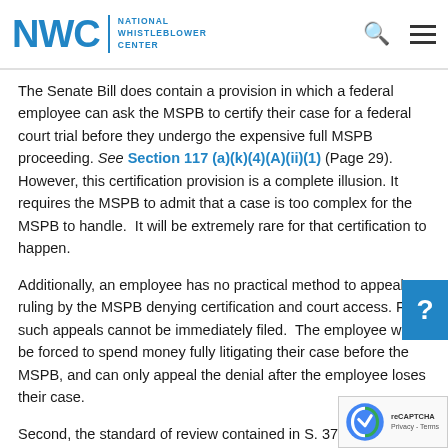NWC National Whistleblower Center
The Senate Bill does contain a provision in which a federal employee can ask the MSPB to certify their case for a federal court trial before they undergo the expensive full MSPB proceeding. See Section 117 (a)(k)(4)(A)(ii)(1) (Page 29). However, this certification provision is a complete illusion. It requires the MSPB to admit that a case is too complex for the MSPB to handle. It will be extremely rare for that certification to happen.
Additionally, an employee has no practical method to appeal a ruling by the MSPB denying certification and court access. First, such appeals cannot be immediately filed. The employee will be forced to spend money fully litigating their case before the MSPB, and can only appeal the denial after the employee loses their case.
Second, the standard of review contained in S. 372 is the highest standard applicable in law. Instead of a de novo review of the law or facts, the courts are required under the